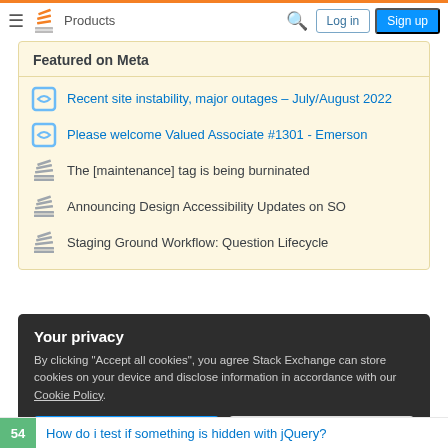Stack Overflow — Products | Log in | Sign up
Featured on Meta
Recent site instability, major outages – July/August 2022
Please welcome Valued Associate #1301 - Emerson
The [maintenance] tag is being burninated
Announcing Design Accessibility Updates on SO
Staging Ground Workflow: Question Lifecycle
Your privacy
By clicking "Accept all cookies", you agree Stack Exchange can store cookies on your device and disclose information in accordance with our Cookie Policy.
Accept all cookies | Customize settings
54  How do i test if something is hidden with jQuery?